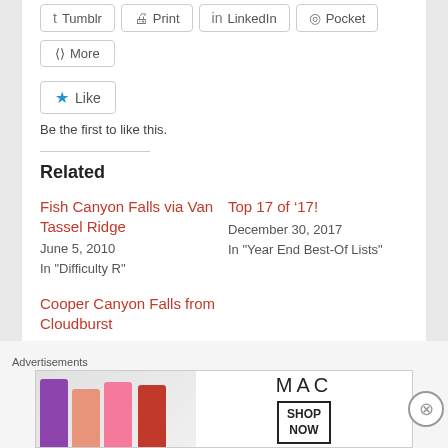[Figure (screenshot): Social share buttons row: Tumblr, Print, LinkedIn, Pocket]
[Figure (screenshot): More share button]
[Figure (screenshot): Like button with blue star]
Be the first to like this.
Related
Fish Canyon Falls via Van Tassel Ridge
June 5, 2010
In "Difficulty R"
Top 17 of ‘17!
December 30, 2017
In "Year End Best-Of Lists"
Cooper Canyon Falls from Cloudburst
June 5, 2012
In "Difficulty PG13"
Advertisements
[Figure (photo): MAC cosmetics advertisement banner with lipsticks and SHOP NOW button]